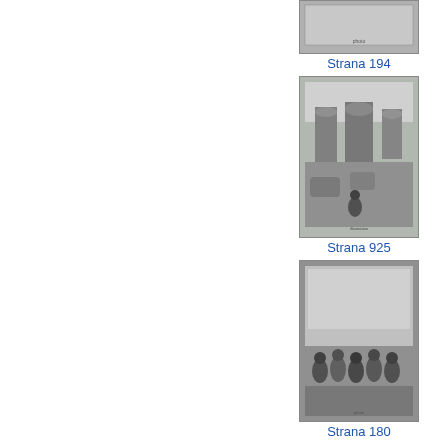[Figure (photo): Black and white thumbnail photograph, page 194, showing a flat grey surface or landscape]
Strana 194
[Figure (photo): Black and white illustration of ancient stone arches and ruins, with a figure in the foreground, page 925]
Strana 925
[Figure (photo): Black and white photograph of a crowd of people outdoors, page 180]
Strana 180